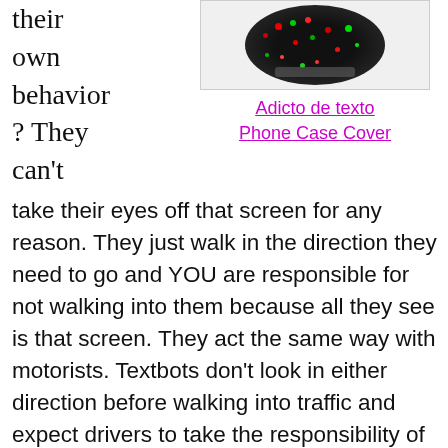their own behavior? They can't
[Figure (photo): Phone case cover with colorful dots on dark background]
Adicto de texto Phone Case Cover
take their eyes off that screen for any reason. They just walk in the direction they need to go and YOU are responsible for not walking into them because all they see is that screen. They act the same way with motorists. Textbots don't look in either direction before walking into traffic and expect drivers to take the responsibility of not hitting them while they're texting. This afternoon when I was out a textbot walked smack right into me texting. She never said a word and she never saw me because she never took her eyes off that screen after our collision. She kept walking and texting. InSAnE